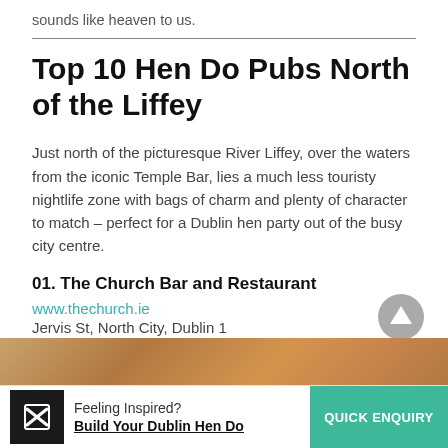sounds like heaven to us.
Top 10 Hen Do Pubs North of the Liffey
Just north of the picturesque River Liffey, over the waters from the iconic Temple Bar, lies a much less touristy nightlife zone with bags of charm and plenty of character to match – perfect for a Dublin hen party out of the busy city centre.
01. The Church Bar and Restaurant
www.thechurch.ie
Jervis St, North City, Dublin 1
[Figure (photo): Interior photo of The Church Bar and Restaurant]
Feeling Inspired? Build Your Dublin Hen Do — QUICK ENQUIRY